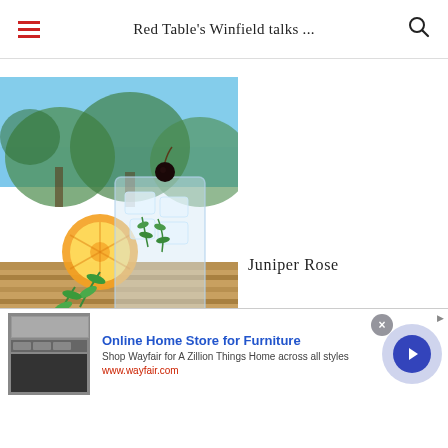Red Table's Winfield talks ...
[Figure (photo): A cocktail drink in a tall glass with ice, a sprig of herbs (rosemary), and an orange slice on the rim, photographed outdoors on a wooden table with trees and blue sky in the background. Infolinks badge visible at bottom left of image.]
Juniper Rose
[Figure (other): Advertisement for Wayfair - Online Home Store for Furniture. Shows furniture/appliance image on left, headline 'Online Home Store for Furniture', subtext 'Shop Wayfair for A Zillion Things Home across all styles', URL 'www.wayfair.com'. Close button (x) and forward arrow button on right.]